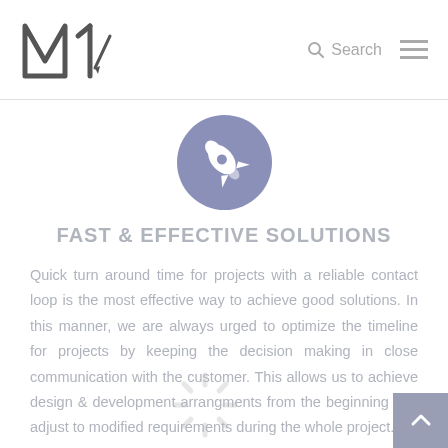M1 logo | Search | Menu
[Figure (illustration): Purple/blue circle with white rocket ship icon in the center]
FAST & EFFECTIVE SOLUTIONS
Quick turn around time for projects with a reliable contact loop is the most effective way to achieve good solutions. In this manner, we are always urged to optimize the timeline for projects by keeping the decision making in close communication with the customer. This allows us to achieve design & development arrangments from the beginning and adjust to modified requirements during the whole project.